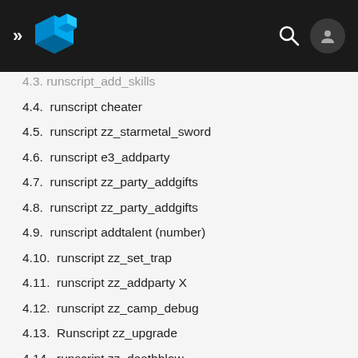[Figure (logo): Blue cube/box logo icon with navigation header bar, search icon, and account icon on dark background]
4.4. runscript cheater
4.5. runscript zz_starmetal_sword
4.6. runscript e3_addparty
4.7. runscript zz_party_addgifts
4.8. runscript zz_party_addgifts
4.9. runscript addtalent (number)
4.10. runscript zz_set_trap
4.11. runscript zz_addparty X
4.12. runscript zz_camp_debug
4.13. Runscript zz_upgrade
4.14. runscript zz_deathblow
4.15. runscript zz_createrunes
4.16. runscript zz_getparty
4.17. runscript zz_supercrit player
4.18. runscript dbg_setattrib (attrib) (value)
4.19. runscript pc_immortal